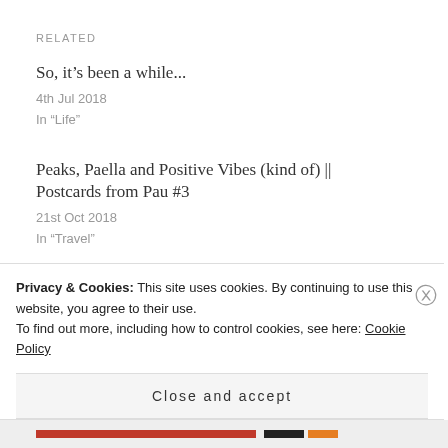RELATED
So, it’s been a while...
4th Jul 2018
In “Life”
Peaks, Paella and Positive Vibes (kind of) || Postcards from Pau #3
21st Oct 2018
In “Travel”
What Uni has taught me so far
29th Jul 2018
In “Health”
Privacy & Cookies: This site uses cookies. By continuing to use this website, you agree to their use.
To find out more, including how to control cookies, see here: Cookie Policy
Close and accept